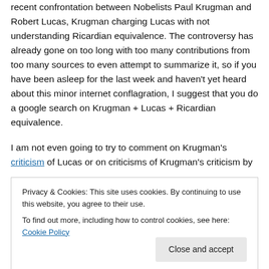recent confrontation between Nobelists Paul Krugman and Robert Lucas, Krugman charging Lucas with not understanding Ricardian equivalence. The controversy has already gone on too long with too many contributions from too many sources to even attempt to summarize it, so if you have been asleep for the last week and haven't yet heard about this minor internet conflagration, I suggest that you do a google search on Krugman + Lucas + Ricardian equivalence.
I am not even going to try to comment on Krugman's criticism of Lucas or on criticisms of Krugman's criticism by
Privacy & Cookies: This site uses cookies. By continuing to use this website, you agree to their use. To find out more, including how to control cookies, see here: Cookie Policy
Wall Street Journal, a piece I commented on here. First,